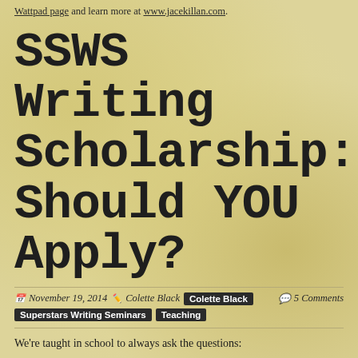Wattpad page and learn more at www.jacekillan.com.
SSWS Writing Scholarship: Should YOU Apply?
November 19, 2014  Colette Black  Colette Black  Superstars Writing Seminars  Teaching  5 Comments
We're taught in school to always ask the questions: